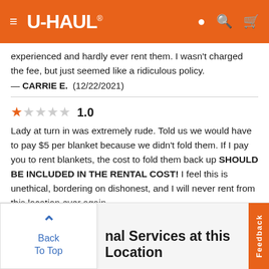U-HAUL
experienced and hardly ever rent them. I wasn't charged the fee, but just seemed like a ridiculous policy.
— CARRIE E.  (12/22/2021)
1.0 — Lady at turn in was extremely rude. Told us we would have to pay $5 per blanket because we didn't fold them. If I pay you to rent blankets, the cost to fold them back up SHOULD BE INCLUDED IN THE RENTAL COST! I feel this is unethical, bordering on dishonest, and I will never rent from this location ever again.
— GARY M.  (12/7/2021)
nal Services at this Location